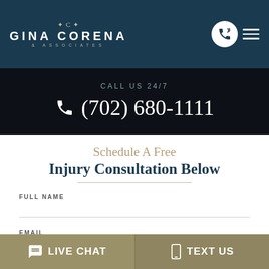GINA CORENA & ASSOCIATES
CALL US 24/7
(702) 680-1111
Schedule A Free Injury Consultation Below
FULL NAME
EMAIL
LIVE CHAT
TEXT US